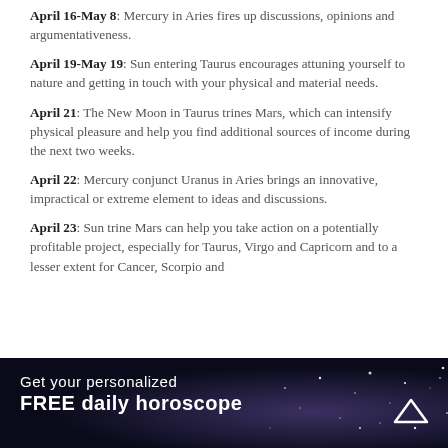April 16-May 8: Mercury in Aries fires up discussions, opinions and argumentativeness.
April 19-May 19: Sun entering Taurus encourages attuning yourself to nature and getting in touch with your physical and material needs.
April 21: The New Moon in Taurus trines Mars, which can intensify physical pleasure and help you find additional sources of income during the next two weeks.
April 22: Mercury conjunct Uranus in Aries brings an innovative, impractical or extreme element to ideas and discussions.
April 23: Sun trine Mars can help you take action on a potentially profitable project, especially for Taurus, Virgo and Capricorn and to a lesser extent for Cancer, Scorpio and
Get your personalized FREE daily horoscope